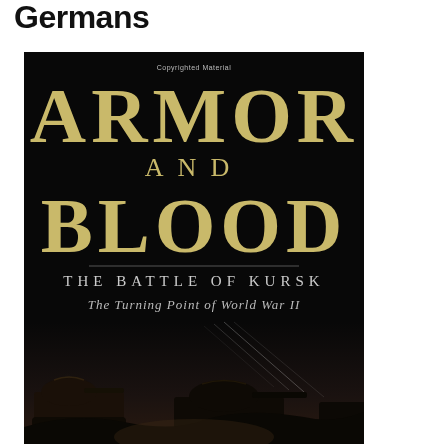Germans
[Figure (photo): Book cover of 'Armor and Blood: The Battle of Kursk – The Turning Point of World War II'. Black background with large golden serif lettering for 'ARMOR AND BLOOD', subtitle 'THE BATTLE OF KURSK' in spaced white capitals, italic subtitle 'The Turning Point of World War II', and silhouettes of tanks in the lower portion. Small text 'Copyrighted Material' at top center.]